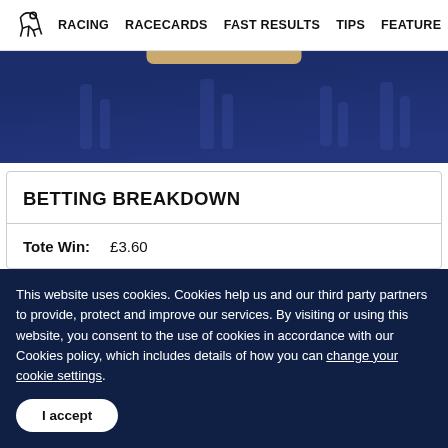RACING   RACECARDS   FAST RESULTS   TIPS   FEATURE
[Figure (photo): Dark navy blue hero image showing partial view of horse racing, with a tan/gold bar at the top center]
BETTING BREAKDOWN
Tote Win:   £3.60
This website uses cookies. Cookies help us and our third party partners to provide, protect and improve our services. By visiting or using this website, you consent to the use of cookies in accordance with our Cookies policy, which includes details of how you can change your cookie settings.
I accept